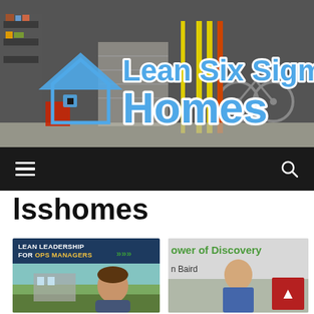[Figure (screenshot): Lean Six Sigma Homes website header banner showing a garage background image with a house logo icon and the text 'Lean Six Sigma Homes' in large blue letters with white outline]
[Figure (screenshot): Dark navigation bar with hamburger menu icon on the left and search icon on the right]
lsshomes
[Figure (photo): Left thumbnail card showing 'LEAN LEADERSHIP FOR OPS MANAGERS' with green chevron arrows on dark blue background, and a photo of a woman outdoors]
[Figure (photo): Right thumbnail card showing 'ower of Discovery' in green text and 'n Baird' subtitle with a person photo and red scroll-to-top button]